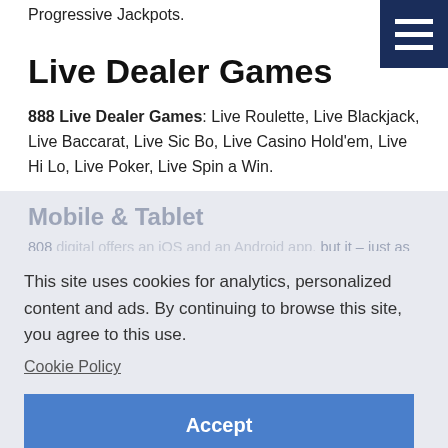Progressive Jackpots.
[Figure (other): Hamburger menu icon — three white horizontal bars on dark navy blue square background]
Live Dealer Games
888 Live Dealer Games: Live Roulette, Live Blackjack, Live Baccarat, Live Sic Bo, Live Casino Hold'em, Live Hi Lo, Live Poker, Live Spin a Win.
Mobile & Tablet
This site uses cookies for analytics, personalized content and ads. By continuing to browse this site, you agree to this use.
Cookie Policy
Accept
but it – just as easy to play on your smartphone's browser.
Banking
888 accepts the following.